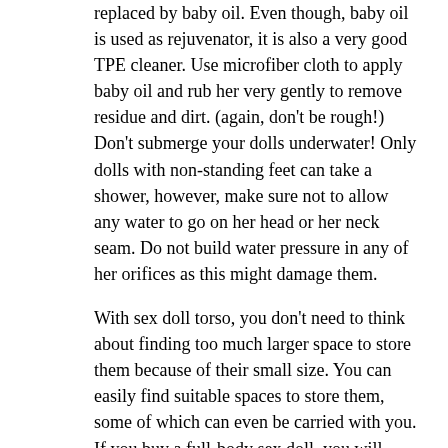replaced by baby oil. Even though, baby oil is used as rejuvenator, it is also a very good TPE cleaner. Use microfiber cloth to apply baby oil and rub her very gently to remove residue and dirt. (again, don't be rough!) Don't submerge your dolls underwater! Only dolls with non-standing feet can take a shower, however, make sure not to allow any water to go on her head or her neck seam. Do not build water pressure in any of her orifices as this might damage them.
With sex doll torso, you don't need to think about finding too much larger space to store them because of their small size. You can easily find suitable spaces to store them, some of which can even be carried with you. If you buy a full-body sex doll, you will eventually need to buy some special boxes to hide them, such as a sofa with a lock and a bed with a storage function. These are not small expenses. The sex doll torso is made of the same high-quality TPE or silicone material and is easier to clean. Read additional info on hydoll torso.
TPE is an acronym for Thermo Plastic Elastomer. It is also known as TPR or Thermo Plastic Rubber. Polymers like rubber and plastics are mixed to make TPE. It is usually...